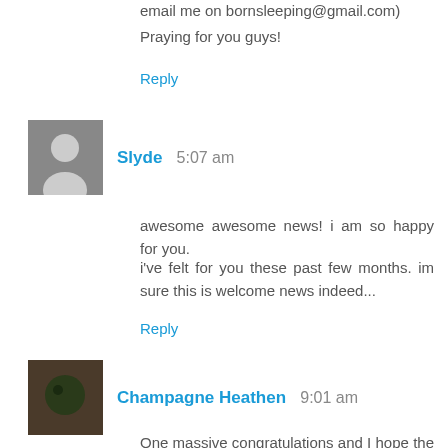email me on bornsleeping@gmail.com)
Praying for you guys!
Reply
Slyde 5:07 am
awesome awesome news! i am so happy for you.
i've felt for you these past few months. im sure this is welcome news indeed...
Reply
Champagne Heathen 9:01 am
One massive congratulations and I hope the fears are easily quelled and the pregnancy goes so smoothly!
Reply